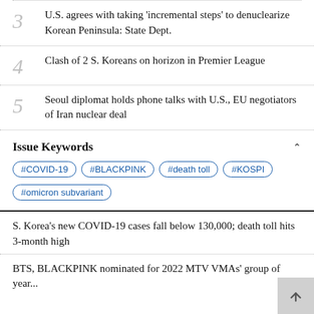3  U.S. agrees with taking 'incremental steps' to denuclearize Korean Peninsula: State Dept.
4  Clash of 2 S. Koreans on horizon in Premier League
5  Seoul diplomat holds phone talks with U.S., EU negotiators of Iran nuclear deal
Issue Keywords
#COVID-19  #BLACKPINK  #death toll  #KOSPI  #omicron subvariant
S. Korea's new COVID-19 cases fall below 130,000; death toll hits 3-month high
BTS, BLACKPINK nominated for 2022 MTV VMAs' group of year...